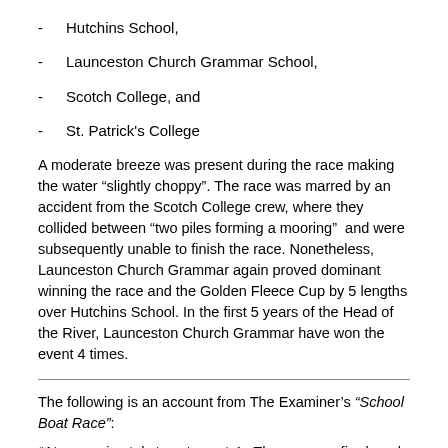Hutchins School,
Launceston Church Grammar School,
Scotch College, and
St. Patrick's College
A moderate breeze was present during the race making the water “slightly choppy”. The race was marred by an accident from the Scotch College crew, where they collided between “two piles forming a mooring”  and were subsequently unable to finish the race. Nonetheless, Launceston Church Grammar again proved dominant winning the race and the Golden Fleece Cup by 5 lengths over Hutchins School. In the first 5 years of the Head of the River, Launceston Church Grammar have won the event 4 times.
The following is an account from The Examiner’s “School Boat Race”:
"At approximately twenty past 4...The gun was fired, and the